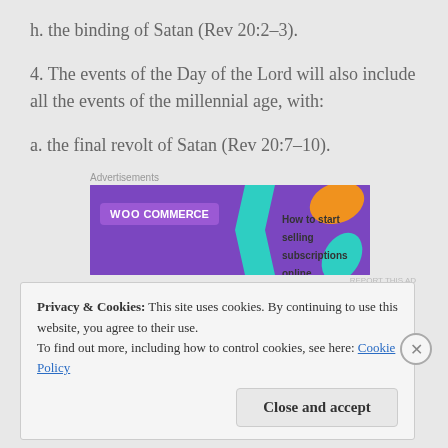h. the binding of Satan (Rev 20:2–3).
4. The events of the Day of the Lord will also include all the events of the millennial age, with:
a. the final revolt of Satan (Rev 20:7–10).
[Figure (other): WooCommerce advertisement banner: 'How to start selling subscriptions online']
Privacy & Cookies: This site uses cookies. By continuing to use this website, you agree to their use.
To find out more, including how to control cookies, see here: Cookie Policy